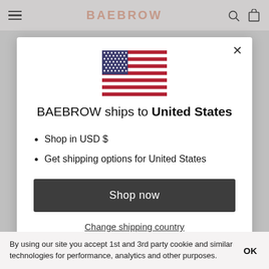BAEBROW
[Figure (illustration): US flag illustration]
BAEBROW ships to United States
Shop in USD $
Get shipping options for United States
Shop now
Change shipping country
By using our site you accept 1st and 3rd party cookie and similar technologies for performance, analytics and other purposes.